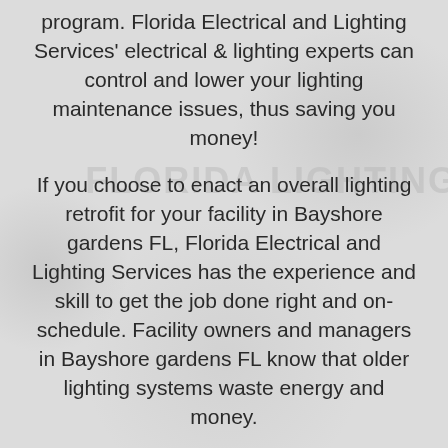program. Florida Electrical and Lighting Services' electrical & lighting experts can control and lower your lighting maintenance issues, thus saving you money!
If you choose to enact an overall lighting retrofit for your facility in Bayshore gardens FL, Florida Electrical and Lighting Services has the experience and skill to get the job done right and on-schedule. Facility owners and managers in Bayshore gardens FL know that older lighting systems waste energy and money.